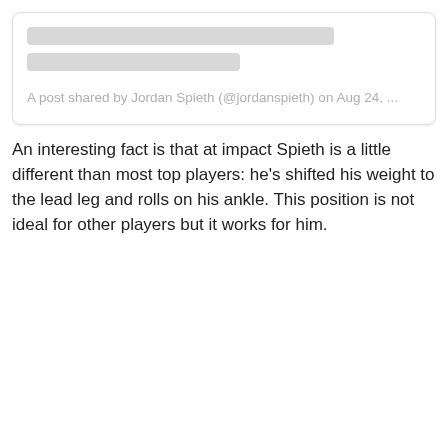[Figure (screenshot): Social media post embed card with two grey placeholder loading bars and a caption reading 'A post shared by Jordan Spieth (@jordanspieth) on Aug 24, ...']
An interesting fact is that at impact Spieth is a little different than most top players: he's shifted his weight to the lead leg and rolls on his ankle. This position is not ideal for other players but it works for him.